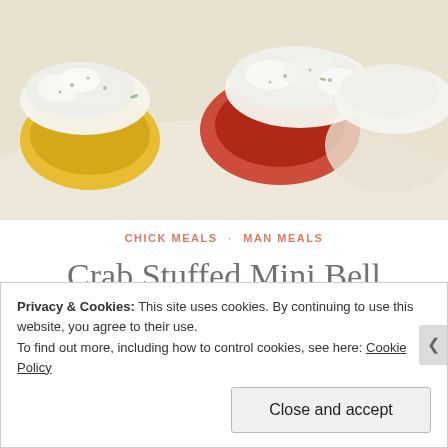[Figure (photo): Close-up photo of crab stuffed mini bell peppers topped with a white creamy filling, showing yellow and red peppers on a light surface.]
CHICK MEALS · MAN MEALS
Crab Stuffed Mini Bell Peppers
May 28, 2016 · coopedinthekitchen · 1 Comment
Privacy & Cookies: This site uses cookies. By continuing to use this website, you agree to their use.
To find out more, including how to control cookies, see here: Cookie Policy
Close and accept